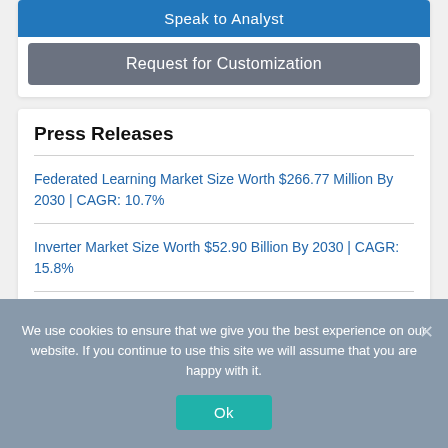Speak to Analyst
Request for Customization
Press Releases
Federated Learning Market Size Worth $266.77 Million By 2030 | CAGR: 10.7%
Inverter Market Size Worth $52.90 Billion By 2030 | CAGR: 15.8%
Soil Amendments Market Size Worth $8.55 Million By 2030 | CAGR: 11.1%
We use cookies to ensure that we give you the best experience on our website. If you continue to use this site we will assume that you are happy with it.